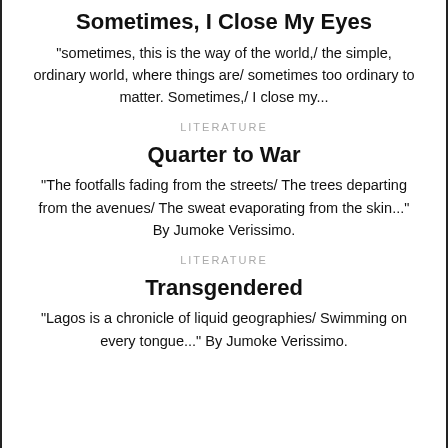Sometimes, I Close My Eyes
"sometimes, this is the way of the world,/ the simple, ordinary world, where things are/ sometimes too ordinary to matter. Sometimes,/ I close my..."
LITERATURE
Quarter to War
"The footfalls fading from the streets/ The trees departing from the avenues/ The sweat evaporating from the skin..." By Jumoke Verissimo.
LITERATURE
Transgendered
"Lagos is a chronicle of liquid geographies/ Swimming on every tongue..." By Jumoke Verissimo.